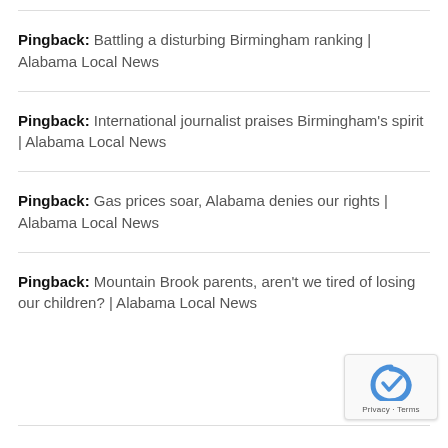Pingback: Battling a disturbing Birmingham ranking | Alabama Local News
Pingback: International journalist praises Birmingham's spirit | Alabama Local News
Pingback: Gas prices soar, Alabama denies our rights | Alabama Local News
Pingback: Mountain Brook parents, aren't we tired of losing our children? | Alabama Local News